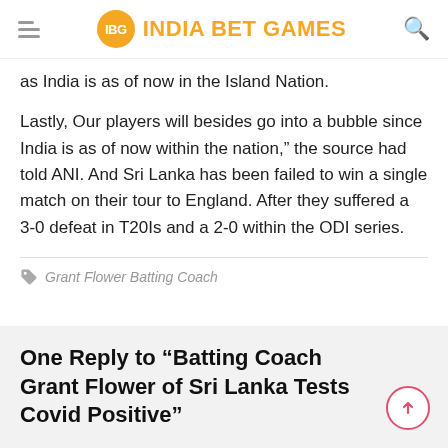IBG INDIA BET GAMES
as India is as of now in the Island Nation.
Lastly, Our players will besides go into a bubble since India is as of now within the nation,” the source had told ANI. And Sri Lanka has been failed to win a single match on their tour to England. After they suffered a 3-0 defeat in T20Is and a 2-0 within the ODI series.
Grant Flower Batting Coach
One Reply to “Batting Coach Grant Flower of Sri Lanka Tests Covid Positive”